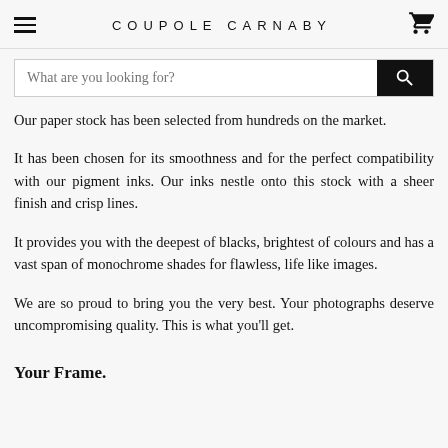COUPOLE CARNABY
Our paper stock has been selected from hundreds on the market.
It has been chosen for its smoothness and for the perfect compatibility with our pigment inks. Our inks nestle onto this stock with a sheer finish and crisp lines.
It provides you with the deepest of blacks, brightest of colours and has a vast span of monochrome shades for flawless, life like images.
We are so proud to bring you the very best. Your photographs deserve uncompromising quality. This is what you'll get.
Your Frame.